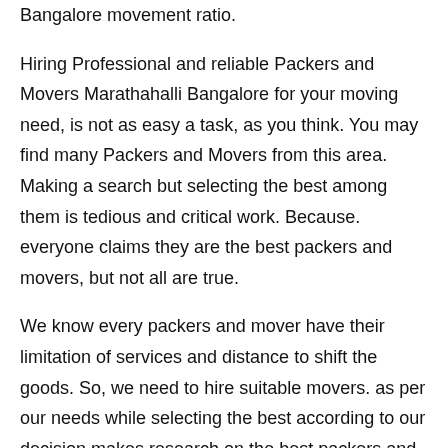Bangalore movement ratio.
Hiring Professional and reliable Packers and Movers Marathahalli Bangalore for your moving need, is not as easy a task, as you think. You may find many Packers and Movers from this area. Making a search but selecting the best among them is tedious and critical work. Because. everyone claims they are the best packers and movers, but not all are true.
We know every packers and mover have their limitation of services and distance to shift the goods. So, we need to hire suitable movers. as per our needs while selecting the best according to our decision makes research on the best packers and movers.
How to Hire Packers and